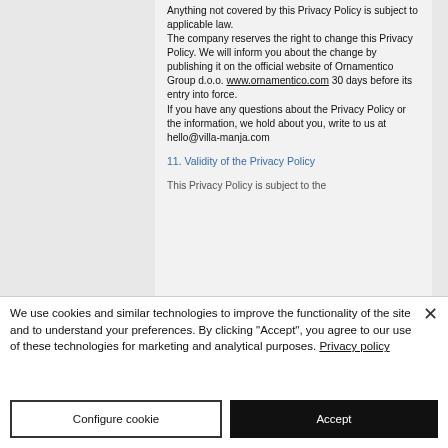Anything not covered by this Privacy Policy is subject to applicable law. The company reserves the right to change this Privacy Policy. We will inform you about the change by publishing it on the official website of Ornamentico Group d.o.o. www.ornamentico.com 30 days before its entry into force.
If you have any questions about the Privacy Policy or the information, we hold about you, write to us at hello@villa-manja.com
11. Validity of the Privacy Policy
This Privacy Policy is subject to the...
We use cookies and similar technologies to improve the functionality of the site and to understand your preferences. By clicking "Accept", you agree to our use of these technologies for marketing and analytical purposes. Privacy policy